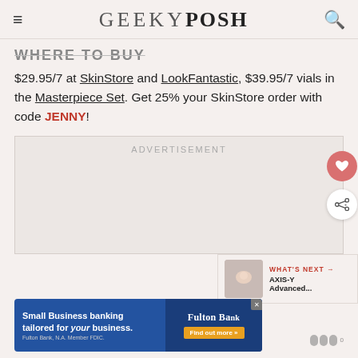GEEKY POSH
WHERE TO BUY
$29.95/7 at SkinStore and LookFantastic, $39.95/7 vials in the Masterpiece Set. Get 25% your SkinStore order with code JENNY!
[Figure (other): Advertisement placeholder box with text ADVERTISEMENT]
[Figure (other): What's Next banner showing AXIS-Y Advanced... with thumbnail image]
[Figure (other): Fulton Bank small business banking advertisement banner]